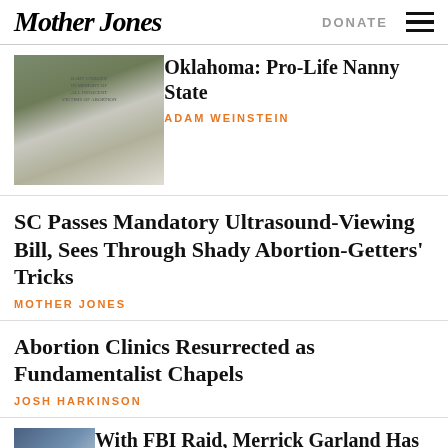Mother Jones | DONATE | [menu]
[Figure (photo): Tombstone memorial for unborn babies, text reads BABY UNBORN IN MEMORY OF ALL INNOCENT VICTIMS OF ABORTION, surrounded by foliage]
Oklahoma: Pro-Life Nanny State
ADAM WEINSTEIN
SC Passes Mandatory Ultrasound-Viewing Bill, Sees Through Shady Abortion-Getters' Tricks
MOTHER JONES
Abortion Clinics Resurrected as Fundamentalist Chapels
JOSH HARKINSON
[Figure (photo): Photo of Merrick Garland in front of blue background with US flag]
With FBI Raid, Merrick Garland Has No Choice But to Go Big on the Trump